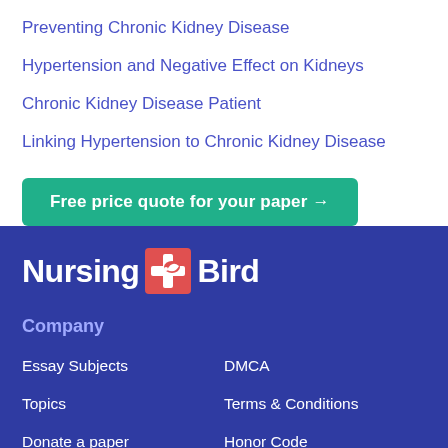Preventing Chronic Kidney Disease
Hypertension and Negative Effect on Kidneys
Chronic Kidney Disease Patient
Linking Hypertension to Chronic Kidney Disease
Free price quote for your paper →
[Figure (logo): Nursing Bird logo with red cross and bird icon on dark blue background]
Company
Essay Subjects
DMCA
Topics
Terms & Conditions
Donate a paper
Honor Code
Contact us
Privacy Policy
Tools